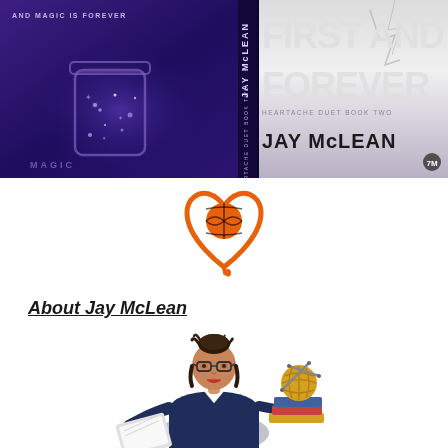[Figure (illustration): Book cover for 'First and Forever' by Jay McLean, Heartache Duet Book Two. Left side shows dark purple background with a mason jar containing sparkles/magic, tagline 'and magic is forever'. Center spine shows series and author name. Right side shows title 'FIRST AND FOREVER' in large white/gray letters and author name 'JAY McLEAN' in black.]
[Figure (logo): Orange heart-shaped logo with a basketball inside it and a curled tail, likely a logo for a romance sports book or reading blog.]
About Jay McLean
[Figure (illustration): Cartoon illustration of a woman with dark hair in a bun, wearing glasses, a dark blazer, sitting with an open laptop/book. Beside her are stacked books and a ball of gold yarn with knitting needles.]